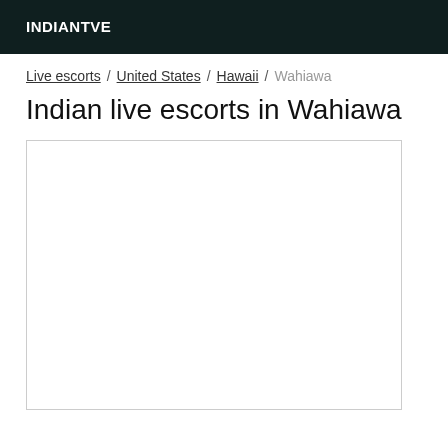INDIANTVE
Live escorts / United States / Hawaii / Wahiawa
Indian live escorts in Wahiawa
[Figure (other): Empty white listing box with border]